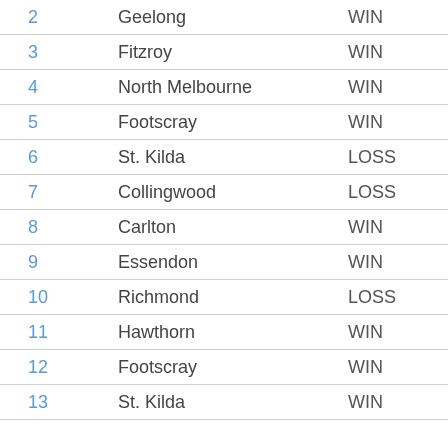| Round | Opponent | Result |
| --- | --- | --- |
| 2 | Geelong | WIN |
| 3 | Fitzroy | WIN |
| 4 | North Melbourne | WIN |
| 5 | Footscray | WIN |
| 6 | St. Kilda | LOSS |
| 7 | Collingwood | LOSS |
| 8 | Carlton | WIN |
| 9 | Essendon | WIN |
| 10 | Richmond | LOSS |
| 11 | Hawthorn | WIN |
| 12 | Footscray | WIN |
| 13 | St. Kilda | WIN |